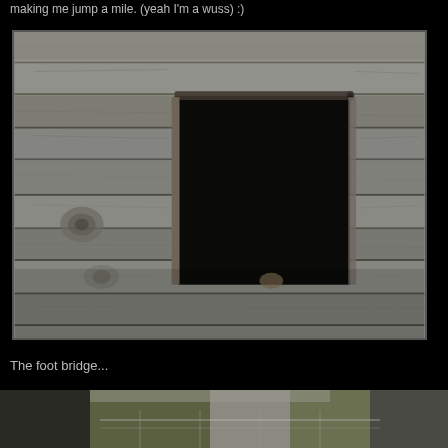making me jump a mile. (yeah I'm a wuss) :)
[Figure (photo): Close-up photograph of weathered gray wooden planks on a barn or shed wall, with a small square dark opening (window or hole) in the center. The wood has visible grain, knots, and horizontal plank lines.]
The foot bridge...
[Figure (photo): Partial view of a foot bridge scene, showing a strip of outdoor scenery at the bottom of the page.]